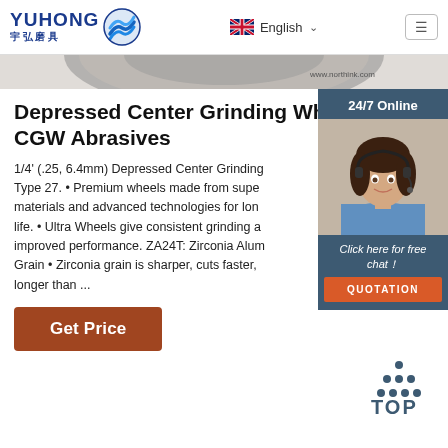[Figure (logo): YUHONG 宇弘磨具 company logo with blue wave/shield icon]
[Figure (screenshot): Navigation bar with English language selector and hamburger menu]
[Figure (photo): Partial view of a grinding wheel product image]
[Figure (photo): 24/7 Online chat widget with woman wearing headset, Click here for free chat, QUOTATION button]
Depressed Center Grinding Wheel - CGW Abrasives
1/4' (.25, 6.4mm) Depressed Center Grinding Type 27. • Premium wheels made from superior materials and advanced technologies for longer life. • Ultra Wheels give consistent grinding and improved performance. ZA24T: Zirconia Alumina Grain • Zirconia grain is sharper, cuts faster, lasts longer than ...
[Figure (other): Get Price brown button]
[Figure (other): TOP navigation button with dot-triangle icon]